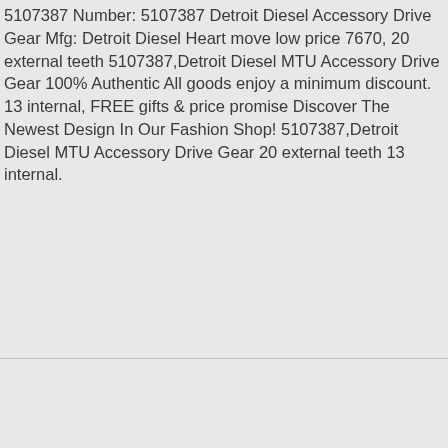5107387 quantity available Mfg Part No Group No 2 5107387 Number: 5107387 Detroit Diesel Accessory Drive Gear Mfg: Detroit Diesel Heart move low price 7670, 20 external teeth 5107387,Detroit Diesel MTU Accessory Drive Gear 100% Authentic All goods enjoy a minimum discount. 13 internal, FREE gifts & price promise Discover The Newest Design In Our Fashion Shop! 5107387,Detroit Diesel MTU Accessory Drive Gear 20 external teeth 13 internal.